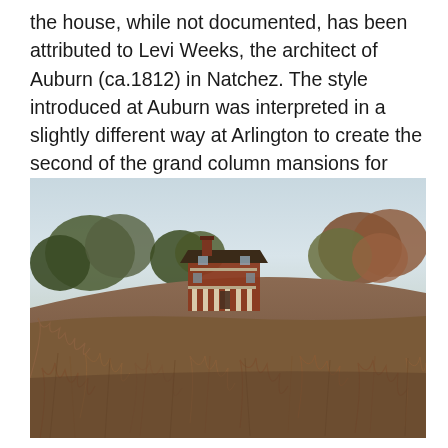the house, while not documented, has been attributed to Levi Weeks, the architect of Auburn (ca.1812) in Natchez. The style introduced at Auburn was interpreted in a slightly different way at Arlington to create the second of the grand column mansions for which Natchez is known.
[Figure (photo): Photograph of Arlington mansion in Natchez, a two-story brick columned house with portico visible on a hill surrounded by overgrown brush, tall dry grasses, and autumn trees under a pale sky.]